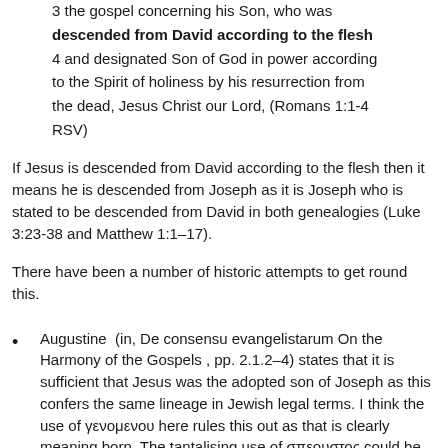3 the gospel concerning his Son, who was descended from David according to the flesh 4 and designated Son of God in power according to the Spirit of holiness by his resurrection from the dead, Jesus Christ our Lord, (Romans 1:1-4 RSV)
If Jesus is descended from David according to the flesh then it means he is descended from Joseph as it is Joseph who is stated to be descended from David in both genealogies (Luke 3:23-38 and Matthew 1:1–17).
There have been a number of historic attempts to get round this.
Augustine  (in, De consensu evangelistarum On the Harmony of the Gospels , pp. 2.1.2–4) states that it is sufficient that Jesus was the adopted son of Joseph as this confers the same lineage in Jewish legal terms. I think the use of γενομενου here rules this out as that is clearly meaning born. The tantalising use of σπεουστος could be misunderstood, but the whole